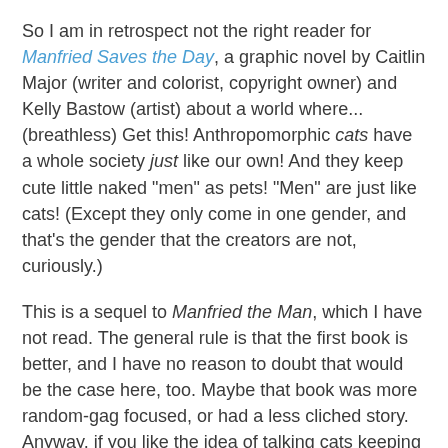So I am in retrospect not the right reader for Manfried Saves the Day, a graphic novel by Caitlin Major (writer and colorist, copyright owner) and Kelly Bastow (artist) about a world where...(breathless) Get this! Anthropomorphic cats have a whole society just like our own! And they keep cute little naked "men" as pets! "Men" are just like cats! (Except they only come in one gender, and that's the gender that the creators are not, curiously.)
This is a sequel to Manfried the Man, which I have not read. The general rule is that the first book is better, and I have no reason to doubt that would be the case here, too. Maybe that book was more random-gag focused, or had a less cliched story. Anyway, if you like the idea of talking cats keeping tiny nonverbal humans as pets, try the first book.
Saves the Day has a plot so cliched that I kept expecting it to be subverted -- literally, every page I was thinking up other ways for it to go, and anticipating which of the twists Major would decide to take -- but I'm here to tell you that it ends up going exactly the way it looks like it will, roaring straight